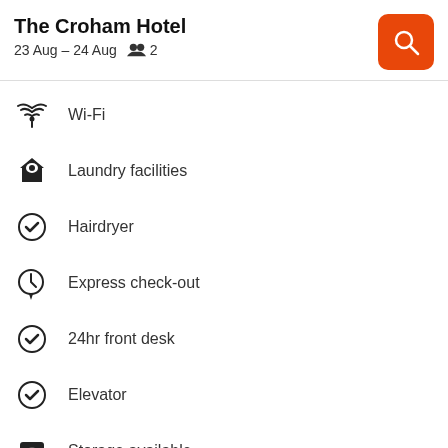The Croham Hotel
23 Aug – 24 Aug  2
Wi-Fi
Laundry facilities
Hairdryer
Express check-out
24hr front desk
Elevator
Storage available
Show all 10 amenities